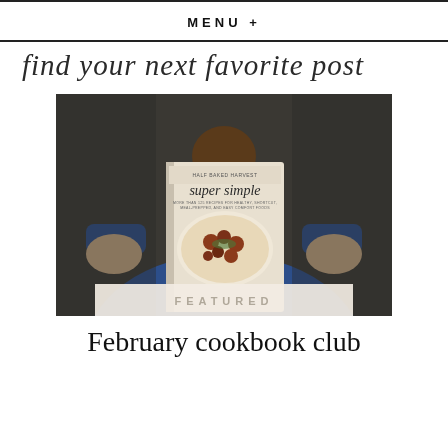MENU +
find your next favorite post
[Figure (photo): Person wearing a blue sweater holding up a cookbook titled 'Half Baked Harvest Super Simple' with a dish of food on the cover. A semi-transparent beige banner at the bottom reads 'FEATURED'.]
FEATURED
February cookbook club